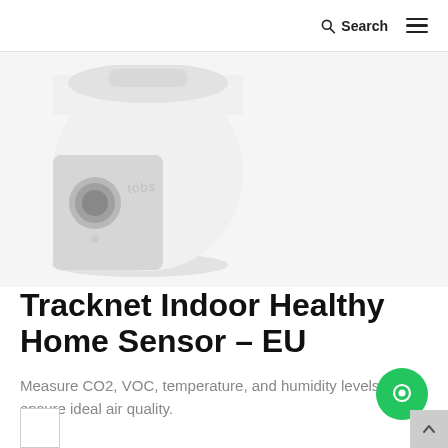Search
[Figure (photo): White rounded smart home sensor device (Tracknet/tobs brand) with a circular sensor element on its face and a small LED indicator, photographed on a light grey background.]
Tracknet Indoor Healthy Home Sensor – EU
Measure CO2, VOC, temperature, and humidity levels ensure ideal air quality.